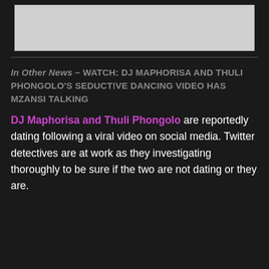[Figure (photo): Light gray rectangular image placeholder at the top of the page]
In Other News – WATCH: DJ MAPHORISA AND THULI PHONGOLO'S SEDUCT!VE DANCING VIDEO HAS MZANSI TALKING
DJ Maphorisa and Thuli Phongolo are reportedly dating following a viral video on social media. Twitter detectives are at work as they investigating thoroughly to be sure if the two are not dating or they are.